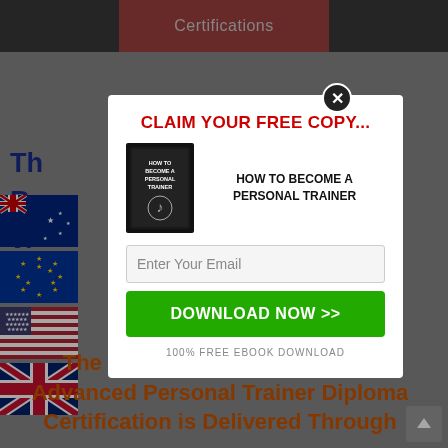Certifications
[Figure (screenshot): Background page with flags (Australian, EU, US, UK) and partially visible blue text about personal trainer certification]
CLAIM YOUR FREE COPY...
HOW TO BECOME A PERSONAL TRAINER
Enter Your Email
DOWNLOAD NOW >>
100% FREE EBOOK DOWNLOAD
The Dangerously Fit Academy Advanced Personal Trainer Diploma Certification is Delivered Through